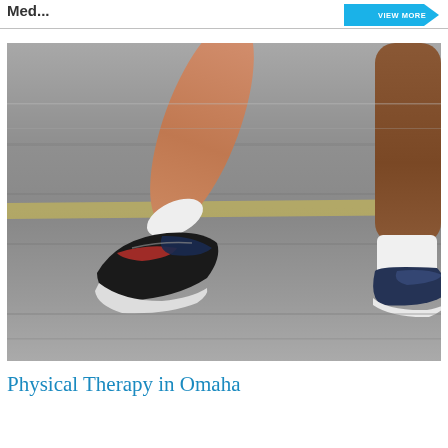Med...
[Figure (photo): Close-up photo of two runners' legs and feet wearing athletic shoes on a paved road surface, motion blur visible]
Physical Therapy in Omaha